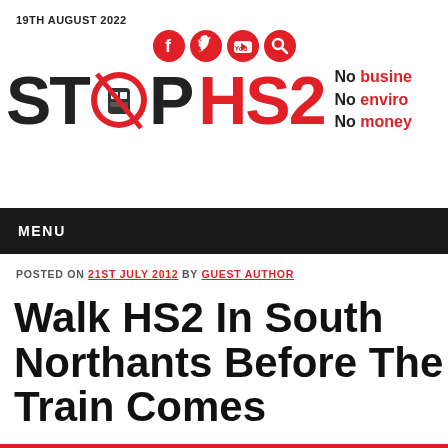19TH AUGUST 2022
[Figure (logo): Stop HS2 logo with social media icons (Facebook, Twitter, YouTube, Search) above. Logo shows STOP in black bold text with a red no-entry train symbol replacing the O, HS2 in red bold text, and tagline 'No business case, No environmental case, No money' in red and black bold text on the right.]
MENU
POSTED ON 21ST JULY 2012 BY GUEST AUTHOR
Walk HS2 In South Northants Before The Train Comes